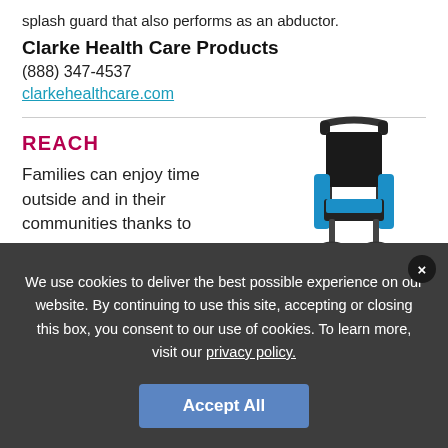splash guard that also performs as an abductor.
Clarke Health Care Products
(888) 347-4537
clarkehealthcare.com
REACH
Families can enjoy time outside and in their communities thanks to
[Figure (photo): A blue and black pediatric wheelchair/stroller with push handle, positioning supports, and footrest, shown on white background.]
We use cookies to deliver the best possible experience on our website. By continuing to use this site, accepting or closing this box, you consent to our use of cookies. To learn more, visit our privacy policy.
Accept All